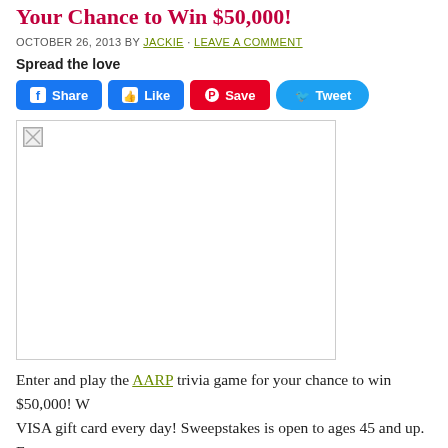Your Chance to Win $50,000!
OCTOBER 26, 2013 BY JACKIE · LEAVE A COMMENT
Spread the love
[Figure (screenshot): Social sharing buttons: Facebook Share, Facebook Like, Pinterest Save, Twitter Tweet]
[Figure (photo): Broken image placeholder with border]
Enter and play the AARP trivia game for your chance to win $50,000! W... VISA gift card every day! Sweepstakes is open to ages 45 and up. En... No purchase necessary. To play and for Official Rules, including odds,